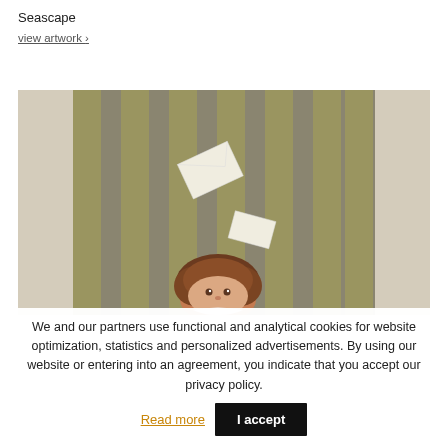Seascape
view artwork >
[Figure (illustration): Painting of a child with curly brown hair looking upward at floating white papers/envelopes against a striped olive-green and grey background with pale stone-like side panels.]
We and our partners use functional and analytical cookies for website optimization, statistics and personalized advertisements. By using our website or entering into an agreement, you indicate that you accept our privacy policy.
Read more
I accept